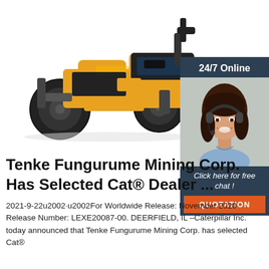[Figure (photo): Yellow road roller / asphalt compactor machine on white background, showing dual drums and cab.]
[Figure (photo): Chat widget with dark blue background showing '24/7 Online' header, photo of smiling woman with headset, text 'Click here for free chat !' and orange QUOTATION button.]
Tenke Fungurume Mining Corp. Has Selected Cat® Dealer ...
2021-9-22u2002·u2002For Worldwide Release: November 2020 Release Number: LEXE20087-00. DEERFIELD, IL –Caterpillar Inc. today announced that Tenke Fungurume Mining Corp. has selected Cat®